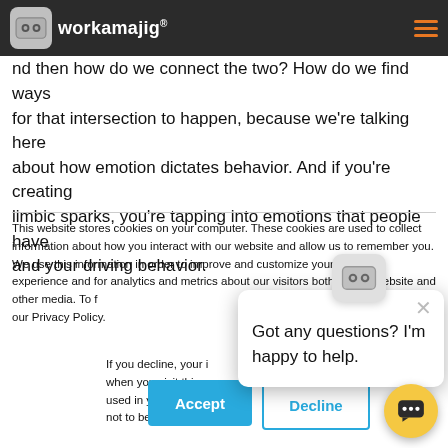workamajig
ould use right now, whatever the right question is, nd then how do we connect the two? How do we find ways for that intersection to happen, because we're talking here about how emotion dictates behavior. And if you're creating limbic sparks, you're tapping into emotions that people have and your driving behavior.
This website stores cookies on your computer. These cookies are used to collect information about how you interact with our website and allow us to remember you. We use this information in order to improve and customize your browsing experience and for analytics and metrics about our visitors both on this website and other media. To find out more about the cookies we use, see our Privacy Policy.
If you decline, your information won't be tracked when you visit this website. A single cookie will be used in your browser to remember your preference not to be tracked.
[Figure (screenshot): Chat popup with robot icon showing 'Got any questions? I'm happy to help.' with a close X button]
[Figure (screenshot): Accept button (blue) and Decline button (outlined blue) for cookie consent]
[Figure (screenshot): Yellow circular chat FAB button with speech bubble icon]